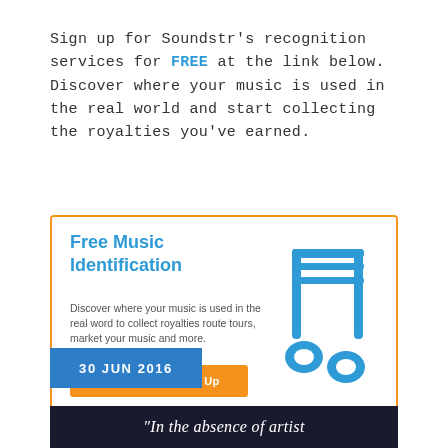Sign up for Soundstr's recognition services for FREE at the link below. Discover where your music is used in the real world and start collecting the royalties you've earned.
[Figure (infographic): Orange-bordered card with 'Free Music Identification' heading in blue, description text, orange 'Free Music ID Sign Up' button, and blue music note icon on the right.]
30 JUN 2016
[Figure (photo): Dark photo with partial white italic text reading 'In the absence of artist']